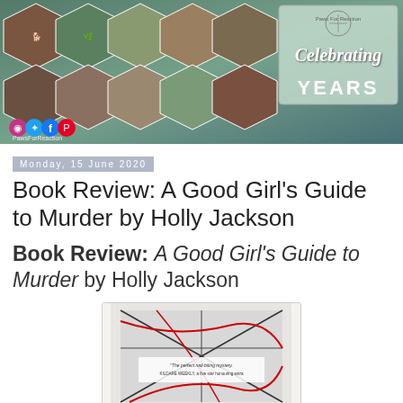[Figure (photo): Banner with hexagonal dog photos collage, social media icons (Instagram, Twitter, Facebook, Pinterest), PawsForReaction label, and a 'Celebrating YEARS' badge in the top right corner]
Monday, 15 June 2020
Book Review: A Good Girl's Guide to Murder by Holly Jackson
Book Review: A Good Girl's Guide to Murder by Holly Jackson
[Figure (photo): Photo of the book 'A Good Girl's Guide to Murder' by Holly Jackson, showing the book cover with black and white design and red string/thread, with a quote visible on the cover]